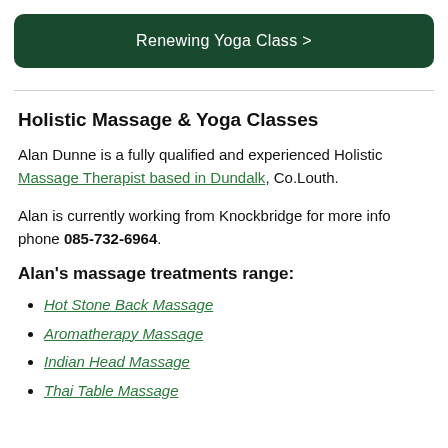Renewing Yoga Class >
Holistic Massage & Yoga Classes
Alan Dunne is a fully qualified and experienced Holistic Massage Therapist based in Dundalk, Co.Louth.
Alan is currently working from Knockbridge for more info phone 085-732-6964.
Alan's massage treatments range:
Hot Stone Back Massage
Aromatherapy Massage
Indian Head Massage
Thai Table Massage